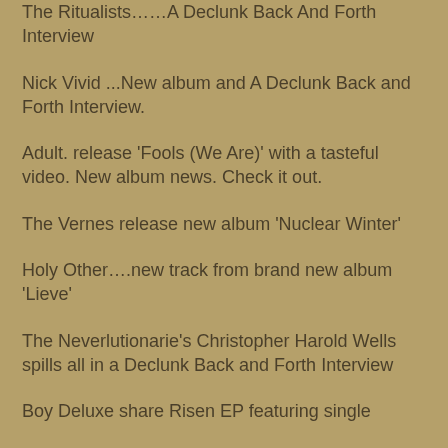The Ritualists……A Declunk Back And Forth Interview
Nick Vivid ...New album and A Declunk Back and Forth Interview.
Adult. release 'Fools (We Are)' with a tasteful video. New album news. Check it out.
The Vernes release new album 'Nuclear Winter'
Holy Other….new track from brand new album 'Lieve'
The Neverlutionarie's Christopher Harold Wells spills all in a Declunk Back and Forth Interview
Boy Deluxe share Risen EP featuring single